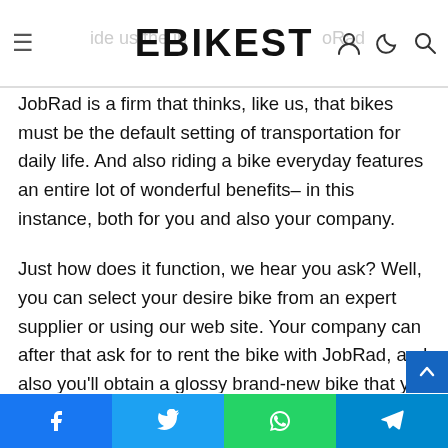EBIKEST
JobRad is a firm that thinks, like us, that bikes must be the default setting of transportation for daily life. And also riding a bike everyday features an entire lot of wonderful benefits– in this instance, both for you and also your company.
Just how does it function, we hear you ask? Well, you can select your desire bike from an expert supplier or using our web site. Your company can after that ask for to rent the bike with JobRad, and also you'll obtain a glossy brand-new bike that you reach ride whenever and also any place you desire: to function, to the fitness center, to see good friends– the opportunities are countless. Insurance coverage is likewise included, so you can ride carefree for the legal duration of 3
Facebook Twitter WhatsApp Telegram